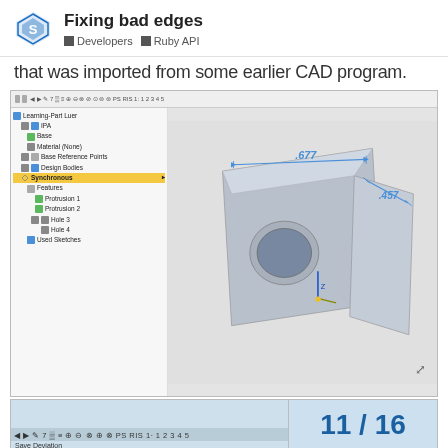Fixing bad edges | Developers | Ruby API
that was imported from some earlier CAD program.
[Figure (screenshot): CAD software screenshot showing a 3D part model with a feature tree on the left side. The model shows a mechanical bracket-like part with a circular hole and angled protrusion. Dimension annotations show .677 and .457. The feature tree shows: Learning-Part Luer, IPA, Base, Material (None), Base Reference Points, Design Bodies, Synchronous (highlighted in yellow), Features, Protrusion 1, Protrusion 2, Hole 3, Hole 4, Used Sketches.]
11 / 16